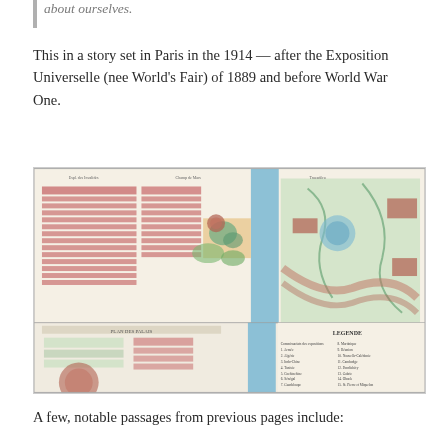about ourselves.
This in a story set in Paris in the 1914 — after the Exposition Universelle (nee World's Fair) of 1889 and before World War One.
[Figure (map): Historical map of the Exposition Universelle (World's Fair) of 1889 in Paris, showing the grounds layout with buildings, gardens, and the Seine river running through the venue. The map includes a legend and shows detailed floor plans of exhibition halls.]
A few, notable passages from previous pages include: